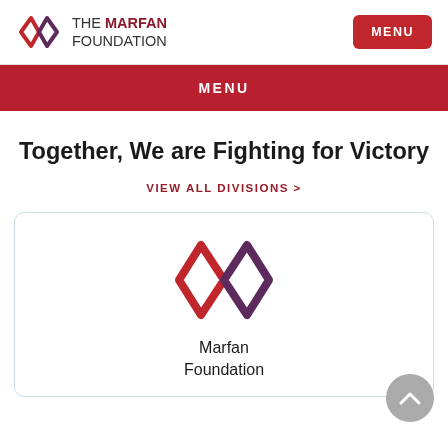THE MARFAN FOUNDATION | MENU
Together, We are Fighting for Victory
VIEW ALL DIVISIONS >
[Figure (logo): Marfan Foundation logo — interlocking diamond/infinity shapes in dark red and purple]
Marfan Foundation